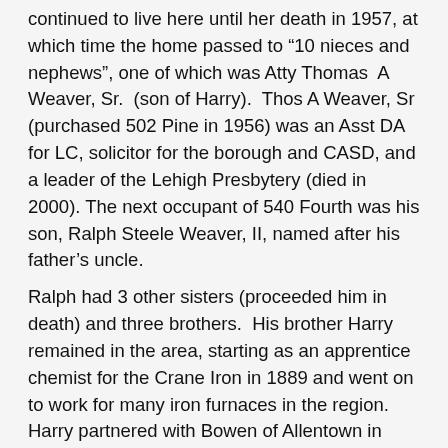continued to live here until her death in 1957, at which time the home passed to “10 nieces and nephews”, one of which was Atty Thomas A Weaver, Sr. (son of Harry). Thos A Weaver, Sr (purchased 502 Pine in 1956) was an Asst DA for LC, solicitor for the borough and CASD, and a leader of the Lehigh Presbytery (died in 2000). The next occupant of 540 Fourth was his son, Ralph Steele Weaver, II, named after his father’s uncle.
Ralph had 3 other sisters (proceeded him in death) and three brothers. His brother Harry remained in the area, starting as an apprentice chemist for the Crane Iron in 1889 and went on to work for many iron furnaces in the region. Harry partnered with Bowen of Allentown in organizing the Allentown Iron Manufacturing Co,